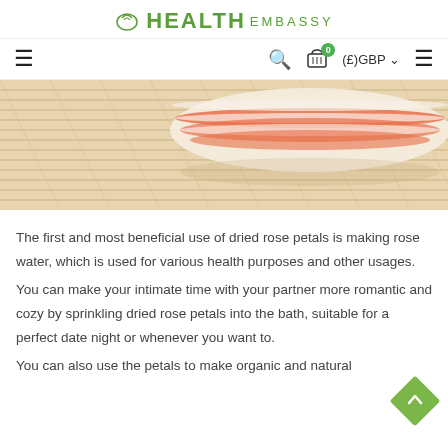HEALTH EMBASSY
[Figure (photo): Close-up photo of a glass bowl with red/orange stripes sitting on bamboo mat, rose-related product]
The first and most beneficial use of dried rose petals is making rose water, which is used for various health purposes and other usages.
You can make your intimate time with your partner more romantic and cozy by sprinkling dried rose petals into the bath, suitable for a perfect date night or whenever you want to.
You can also use the petals to make organic and natural